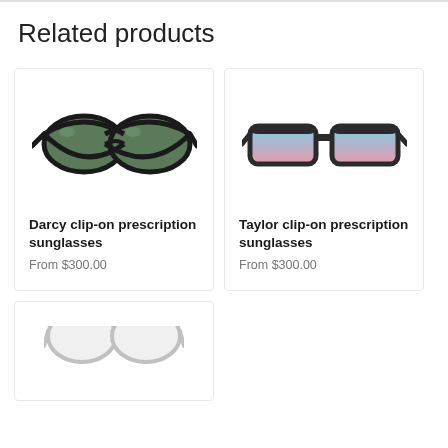Related products
[Figure (photo): Darcy clip-on prescription sunglasses - black frame with dark green lenses]
Darcy clip-on prescription sunglasses
From $300.00
[Figure (photo): Taylor clip-on prescription sunglasses - black frame with blue-pink gradient lenses]
Taylor clip-on prescription sunglasses
From $300.00
[Figure (photo): Third product - partially visible sunglasses at bottom of page]